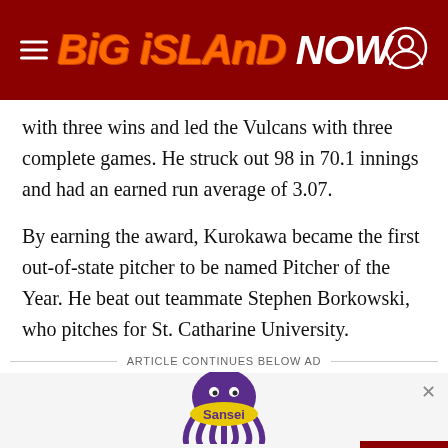BIG ISLAND NOW
with three wins and led the Vulcans with three complete games. He struck out 98 in 70.1 innings and had an earned run average of 3.07.
By earning the award, Kurokawa became the first out-of-state pitcher to be named Pitcher of the Year. He beat out teammate Stephen Borkowski, who pitches for St. Catharine University.
ARTICLE CONTINUES BELOW AD
[Figure (logo): Sansei Seafood Restaurant & Sushi Bar advertisement with octopus logo. Text reads: Serving Awarding Winning Local Dishes for Over 26 Years]